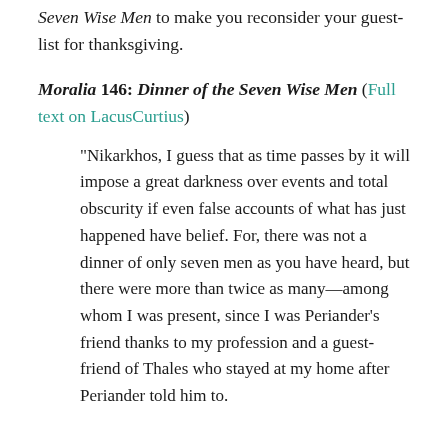Seven Wise Men to make you reconsider your guest-list for thanksgiving.
Moralia 146: Dinner of the Seven Wise Men (Full text on LacusCurtius)
“Nikarkhos, I guess that as time passes by it will impose a great darkness over events and total obscurity if even false accounts of what has just happened have belief. For, there was not a dinner of only seven men as you have heard, but there were more than twice as many—among whom I was present, since I was Periander’s friend thanks to my profession and a guest-friend of Thales who stayed at my home after Periander told him to.